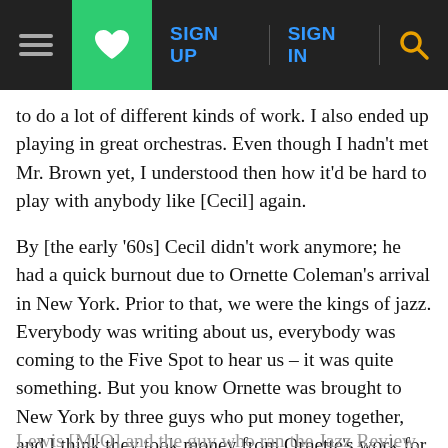Navigation bar with hamburger menu, heart/bookmark button (green), SIGN UP, SIGN IN, and search icon
to do a lot of different kinds of work. I also ended up playing in great orchestras. Even though I hadn't met Mr. Brown yet, I understood then how it'd be hard to play with anybody like [Cecil] again.
By [the early '60s] Cecil didn't work anymore; he had a quick burnout due to Ornette Coleman's arrival in New York. Prior to that, we were the kings of jazz. Everybody was writing about us, everybody was coming to the Five Spot to hear us – it was quite something. But you know Ornette was brought to New York by three guys who put money together, and I think they took money from Ornette's work for quite a few years after it. They were Gunther Schuller, John Lewis [MJQ] and the guy who ran the Jazz Review, Hsio Wen-Shih. They kind of had a financial interest in